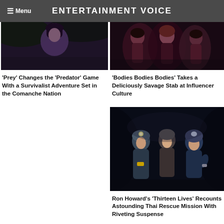☰ Menu  ENTERTAINMENT VOICE
[Figure (photo): Dark close-up photo from the movie Prey, showing a person with dark hair in a shadowy, forested setting]
'Prey' Changes the 'Predator' Game With a Survivalist Adventure Set in the Comanche Nation
[Figure (photo): Dark photo from Bodies Bodies Bodies showing people in a group at night]
'Bodies Bodies Bodies' Takes a Deliciously Savage Stab at Influencer Culture
[Figure (photo): Photo from Thirteen Lives showing three men wearing headlamps and diving/rescue gear in a dark cave setting]
Ron Howard's 'Thirteen Lives' Recounts Astounding Thai Rescue Mission With Riveting Suspense